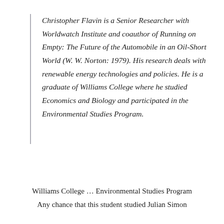Christopher Flavin is a Senior Researcher with Worldwatch Institute and coauthor of Running on Empty: The Future of the Automobile in an Oil-Short World (W. W. Norton: 1979). His research deals with renewable energy technologies and policies. He is a graduate of Williams College where he studied Economics and Biology and participated in the Environmental Studies Program.
Williams College … Environmental Studies Program
Any chance that this student studied Julian Simon